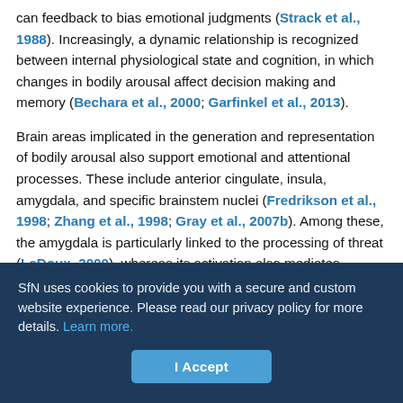can feedback to bias emotional judgments (Strack et al., 1988). Increasingly, a dynamic relationship is recognized between internal physiological state and cognition, in which changes in bodily arousal affect decision making and memory (Bechara et al., 2000; Garfinkel et al., 2013).
Brain areas implicated in the generation and representation of bodily arousal also support emotional and attentional processes. These include anterior cingulate, insula, amygdala, and specific brainstem nuclei (Fredrikson et al., 1998; Zhang et al., 1998; Gray et al., 2007b). Among these, the amygdala is particularly linked to the processing of threat (LeDoux, 2000), whereas its activation also mediates enhanced memory of emotional information (Cahill and McGaugh, 1998)...
SfN uses cookies to provide you with a secure and custom website experience. Please read our privacy policy for more details. Learn more.